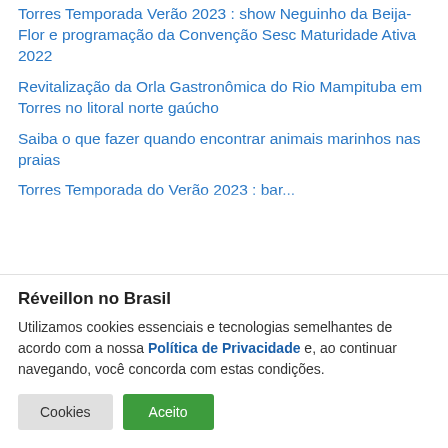Torres Temporada Verão 2023 : show Neguinho da Beija-Flor e programação da Convenção Sesc Maturidade Ativa 2022
Revitalização da Orla Gastronômica do Rio Mampituba em Torres no litoral norte gaúcho
Saiba o que fazer quando encontrar animais marinhos nas praias
Torres Temporada do Verão 2023 : bar...
Réveillon no Brasil
Utilizamos cookies essenciais e tecnologias semelhantes de acordo com a nossa Política de Privacidade e, ao continuar navegando, você concorda com estas condições.